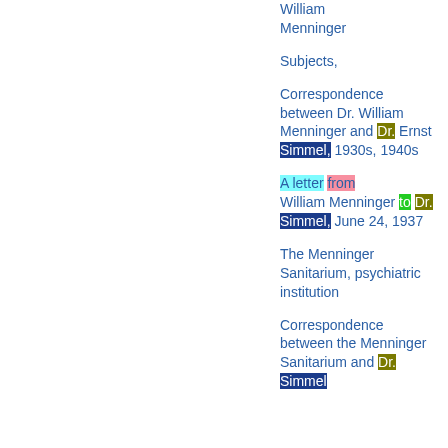William Menninger
Subjects,
Correspondence between Dr. William Menninger and Dr. Ernst Simmel, 1930s, 1940s
A letter from William Menninger to Dr. Simmel, June 24, 1937
The Menninger Sanitarium, psychiatric institution
Correspondence between the Menninger Sanitarium and Dr. Simmel